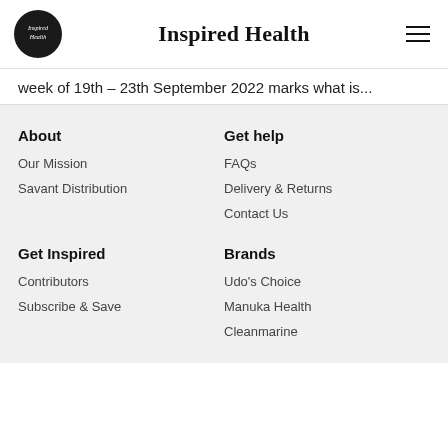Inspired Health
week of 19th – 23th September 2022 marks what is...
About
Our Mission
Savant Distribution
Get help
FAQs
Delivery & Returns
Contact Us
Get Inspired
Contributors
Subscribe & Save
Brands
Udo's Choice
Manuka Health
Cleanmarine